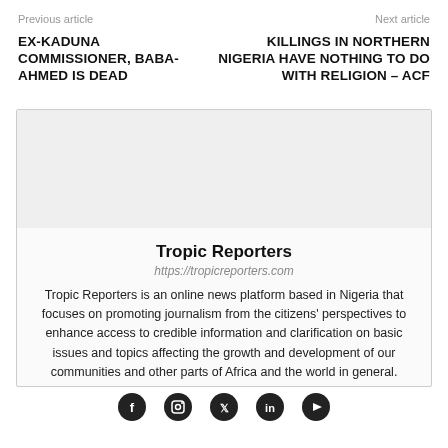Previous article     Next article
EX-KADUNA COMMISSIONER, BABA-AHMED IS DEAD
KILLINGS IN NORTHERN NIGERIA HAVE NOTHING TO DO WITH RELIGION – ACF
[Figure (illustration): Author profile box with grey avatar area, name, URL, bio text and social icons]
Tropic Reporters
https://tropicreporters.com
Tropic Reporters is an online news platform based in Nigeria that focuses on promoting journalism from the citizens' perspectives to enhance access to credible information and clarification on basic issues and topics affecting the growth and development of our communities and other parts of Africa and the world in general.